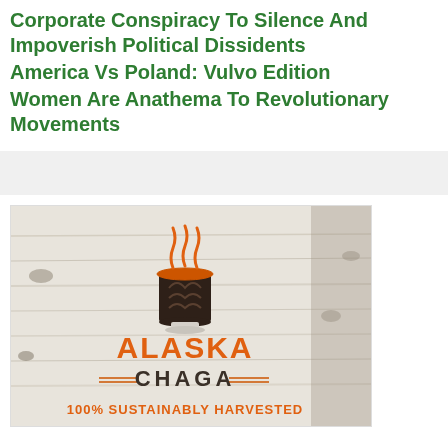Corporate Conspiracy To Silence And Impoverish Political Dissidents
America Vs Poland: Vulvo Edition
Women Are Anathema To Revolutionary Movements
[Figure (logo): Alaska Chaga advertisement logo on birch bark background. Shows a steaming cup/mushroom graphic in orange and dark brown, with text 'ALASKA CHAGA' in large orange letters and '100% SUSTAINABLY HARVESTED' in orange text below.]